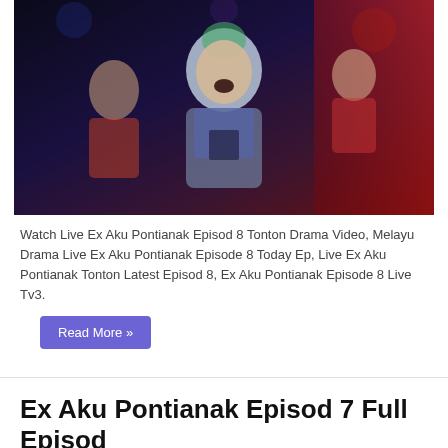[Figure (photo): Scene from Malaysian drama Ex Aku Pontianak Episode 8, showing a young man with green-tipped hair singing or screaming emotionally, with other people in colorful outfits in the background against a dark/red-lit stage]
Watch Live Ex Aku Pontianak Episod 8 Tonton Drama Video, Melayu Drama Live Ex Aku Pontianak Episode 8 Today Ep, Live Ex Aku Pontianak Tonton Latest Episod 8, Ex Aku Pontianak Episode 8 Live Tv3.
Read More »
Ex Aku Pontianak Episod 7 Full Episod
March 27, 2022   Drama, Ex Aku Pontianak   0
[Figure (photo): Scene from Malaysian drama Ex Aku Pontianak Episode 7, dark setting with figures visible in a dimly lit scene]